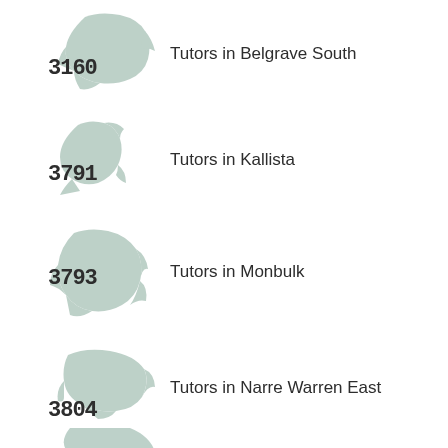[Figure (map): Map shape for postcode 3160 Belgrave South with postcode overlay]
Tutors in Belgrave South
[Figure (map): Map shape for postcode 3791 Kallista with postcode overlay]
Tutors in Kallista
[Figure (map): Map shape for postcode 3793 Monbulk with postcode overlay]
Tutors in Monbulk
[Figure (map): Map shape for postcode 3804 Narre Warren East with postcode overlay]
Tutors in Narre Warren East
[Figure (map): Map shape for a fifth postcode (partially visible at bottom)]